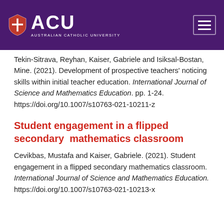[Figure (logo): ACU (Australian Catholic University) logo with shield icon on purple header bar with hamburger menu button]
Tekin-Sitrava, Reyhan, Kaiser, Gabriele and Isiksal-Bostan, Mine. (2021). Development of prospective teachers' noticing skills within initial teacher education. International Journal of Science and Mathematics Education. pp. 1-24. https://doi.org/10.1007/s10763-021-10211-z
Student engagement in a flipped secondary  mathematics classroom
Cevikbas, Mustafa and Kaiser, Gabriele. (2021). Student engagement in a flipped secondary mathematics classroom. International Journal of Science and Mathematics Education. https://doi.org/10.1007/s10763-021-10213-x